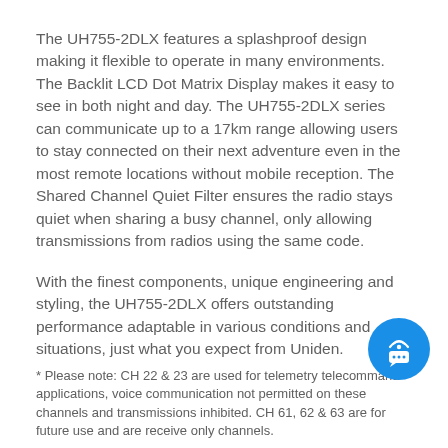The UH755-2DLX features a splashproof design making it flexible to operate in many environments. The Backlit LCD Dot Matrix Display makes it easy to see in both night and day. The UH755-2DLX series can communicate up to a 17km range allowing users to stay connected on their next adventure even in the most remote locations without mobile reception. The Shared Channel Quiet Filter ensures the radio stays quiet when sharing a busy channel, only allowing transmissions from radios using the same code.
With the finest components, unique engineering and styling, the UH755-2DLX offers outstanding performance adaptable in various conditions and situations, just what you expect from Uniden.
* Please note: CH 22 & 23 are used for telemetry telecommand applications, voice communication not permitted on these channels and transmissions inhibited. CH 61, 62 & 63 are for future use and are receive only channels.